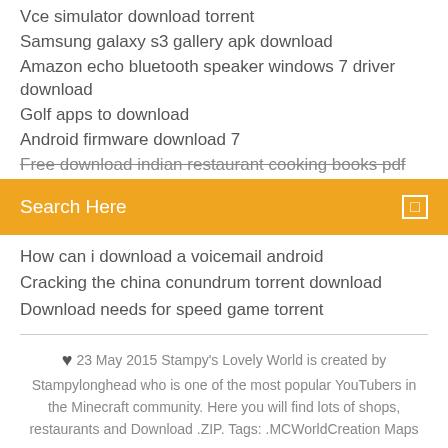Vce simulator download torrent
Samsung galaxy s3 gallery apk download
Amazon echo bluetooth speaker windows 7 driver download
Golf apps to download
Android firmware download 7
Free download indian restaurant cooking books pdf
Search Here
How can i download a voicemail android
Cracking the china conundrum torrent download
Download needs for speed game torrent
♥ 23 May 2015 Stampy's Lovely World is created by Stampylonghead who is one of the most popular YouTubers in the Minecraft community. Here you will find lots of shops, restaurants and Download .ZIP. Tags: .MCWorldCreation Maps